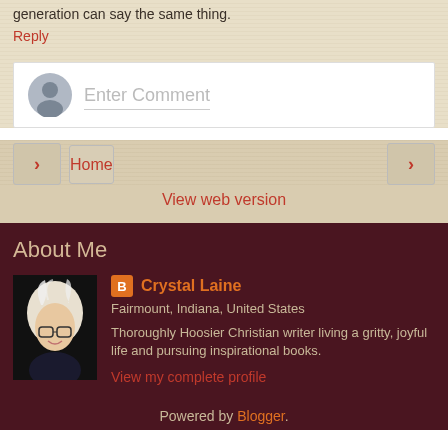generation can say the same thing.
Reply
Enter Comment
Home
View web version
About Me
Crystal Laine
Fairmount, Indiana, United States
Thoroughly Hoosier Christian writer living a gritty, joyful life and pursuing inspirational books.
View my complete profile
Powered by Blogger.